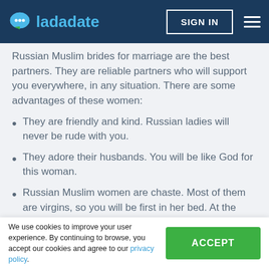ladadate | SIGN IN
Russian Muslim brides for marriage are the best partners. They are reliable partners who will support you everywhere, in any situation. There are some advantages of these women:
They are friendly and kind. Russian ladies will never be rude with you.
They adore their husbands. You will be like God for this woman.
Russian Muslim women are chaste. Most of them are virgins, so you will be first in her bed. At the same time, she will do her best to give you pleasure
We use cookies to improve your user experience. By continuing to browse, you accept our cookies and agree to our privacy policy.